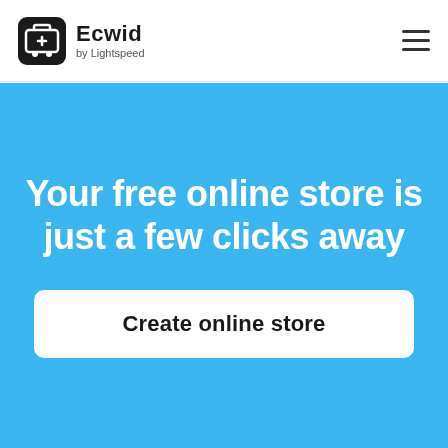Ecwid by Lightspeed
Your free online store is just a few clicks away
Create online store